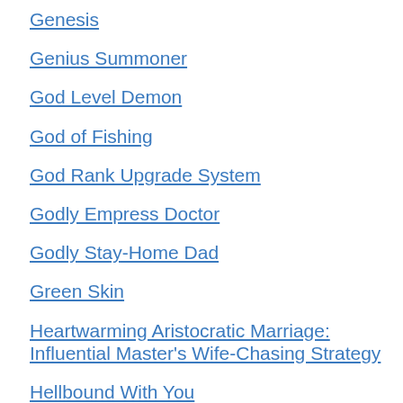Genesis
Genius Summoner
God Level Demon
God of Fishing
God Rank Upgrade System
Godly Empress Doctor
Godly Stay-Home Dad
Green Skin
Heartwarming Aristocratic Marriage: Influential Master's Wife-Chasing Strategy
Hellbound With You
Heyday Love: A Heaven-sent Husband
Hidden Marriage: A Heaven-sent Billionaire Husband